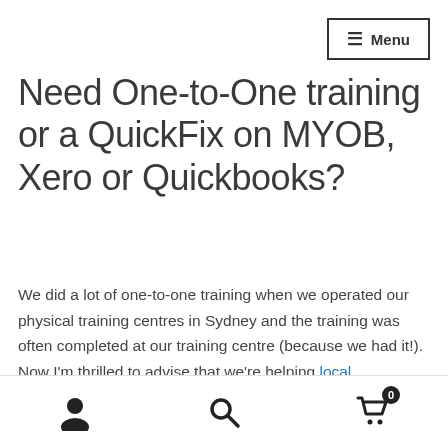Menu
Need One-to-One training or a QuickFix on MYOB, Xero or Quickbooks?
We did a lot of one-to-one training when we operated our physical training centres in Sydney and the training was often completed at our training centre (because we had it!). Now I'm thrilled to advise that we're helping local bookkeepers in your area deliver MYOB and Xero training according to our profession course structures! To learn more visit the National Bookkeeping training page. You'll
User icon | Search icon | Cart with 0 items